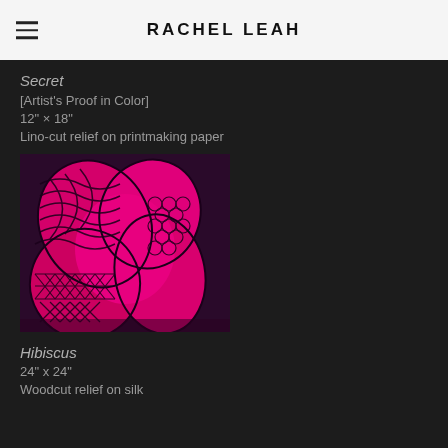RACHEL LEAH
Secret
[Artist's Proof in Color]
12" x 18"
Lino-cut relief on printmaking paper
[Figure (photo): A lino-cut relief print of a flower (likely hibiscus) on bright magenta/pink paper, with intricate black geometric and organic patterns including honeycomb, grid, and wave motifs across the petals.]
Hibiscus
24" x 24"
Woodcut relief on silk